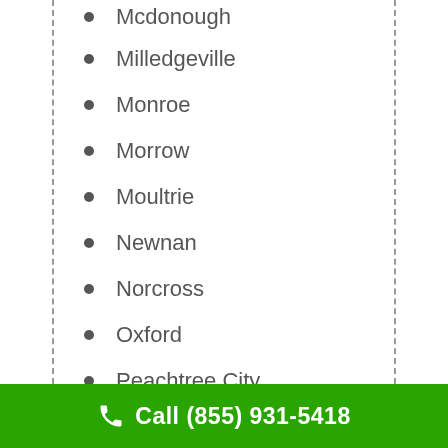Mcdonough
Milledgeville
Monroe
Morrow
Moultrie
Newnan
Norcross
Oxford
Peachtree City
Call (855) 931-5418